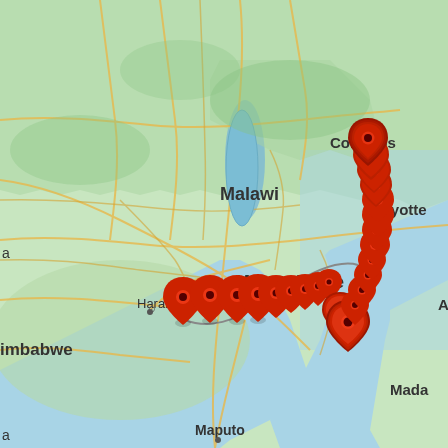[Figure (map): Google Maps view of southeastern Africa showing Mozambique, Malawi, Zimbabwe (partially visible), Comoros, Mayotte, and northern Madagascar. A series of red location pin markers traces a path starting from inland Zimbabwe/Mozambique border area, arcing eastward through central Mozambique, then turning south and then north forming a V-shape in the Mozambique Channel over the Indian Ocean. A gray arc line connects the inland markers. The map shows terrain in green and tan, roads in yellow/orange, water in blue. Place labels: Malawi, Mozambique, Harare, Zimbabwe (imbabwe), Comoros, Mayotte, Maputo, Mada (Madagascar partial), A (partial).]